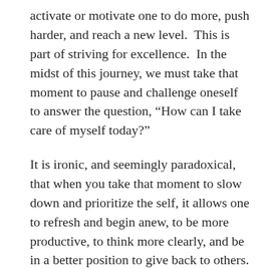activate or motivate one to do more, push harder, and reach a new level.  This is part of striving for excellence.  In the midst of this journey, we must take that moment to pause and challenge oneself to answer the question, “How can I take care of myself today?”
It is ironic, and seemingly paradoxical, that when you take that moment to slow down and prioritize the self, it allows one to refresh and begin anew, to be more productive, to think more clearly, and be in a better position to give back to others. When one is completely in work mode